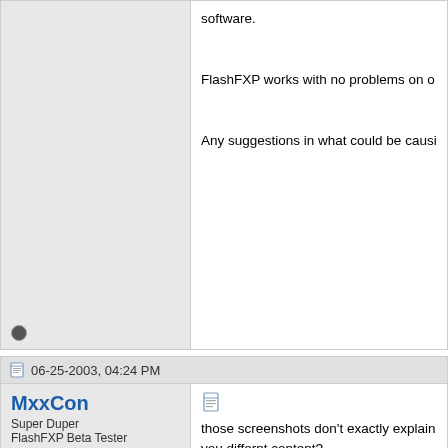software.

FlashFXP works with no problems on o

Any suggestions in what could be causi
06-25-2003, 04:24 PM
MxxCon
Super Duper
FlashFXP Beta Tester

Join Date: Oct 2001
Location: Brooklyn, NY
Posts: 3,877
those screenshots don't exactly explain you differnt content?
try to disable FlashFXP dir cache featur
also after requesting dir list go to "Direc wrong one.

[Sig removed by Administrator: Signatu
06-25-2003, 05:12 PM
guru_2